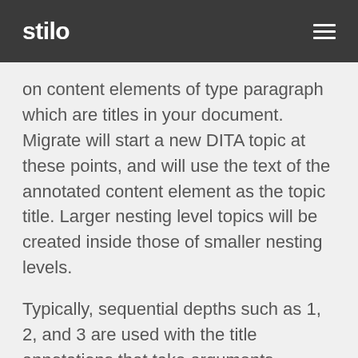stilo
on content elements of type paragraph which are titles in your document. Migrate will start a new DITA topic at these points, and will use the text of the annotated content element as the topic title. Larger nesting level topics will be created inside those of smaller nesting levels.
Typically, sequential depths such as 1, 2, and 3 are used with the title annotations that take arguments. However, Migrate really only looks at the relative numbering. So you could choose depths such as -14, -12, -10. These might simply be